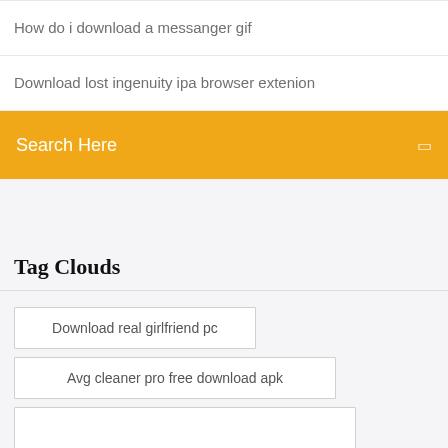How do i download a messanger gif
Download lost ingenuity ipa browser extenion
Search Here
Tag Clouds
Download real girlfriend pc
Avg cleaner pro free download apk